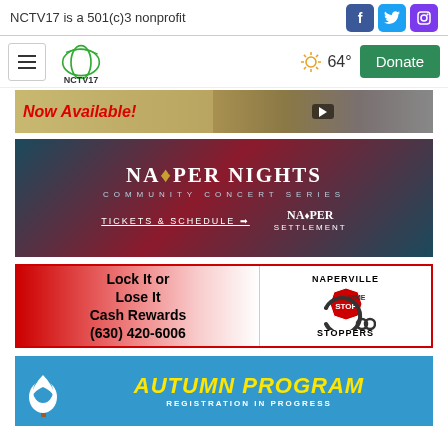NCTV17 is a 501(c)3 nonprofit
[Figure (logo): NCTV17 logo with hamburger menu, sun/weather icon showing 64°, and green Donate button]
[Figure (infographic): Now Available! banner with video thumbnail]
[Figure (infographic): Naper Nights Community Concert Series - Tickets & Schedule - Naper Settlement advertisement]
[Figure (infographic): Lock It or Lose It Cash Rewards (630) 420-6006 - Naperville Crime Stoppers advertisement]
[Figure (infographic): Autumn Program Registration In Progress advertisement]